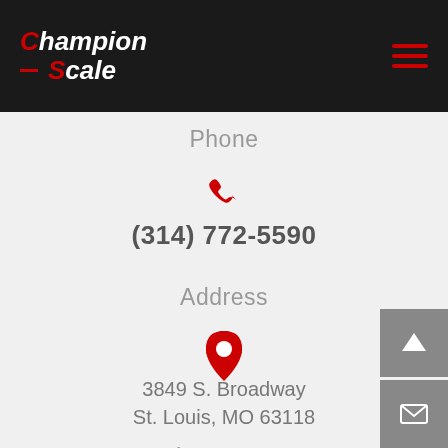Champion Scale
Phone
(314) 772-5590
Address
3849 S. Broadway
St. Louis, MO 63118
Business Hours